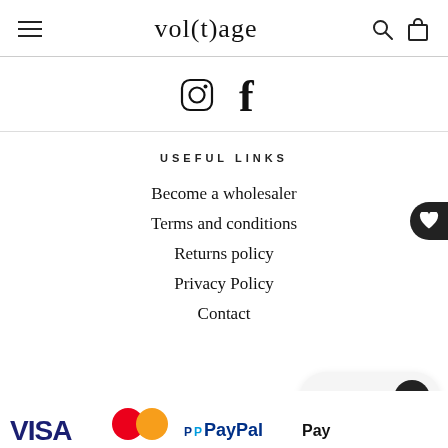vol(t)age
[Figure (other): Instagram and Facebook social media icons]
USEFUL LINKS
Become a wholesaler
Terms and conditions
Returns policy
Privacy Policy
Contact
[Figure (other): Payment method logos: VISA, Mastercard, PayPal, Apple Pay]